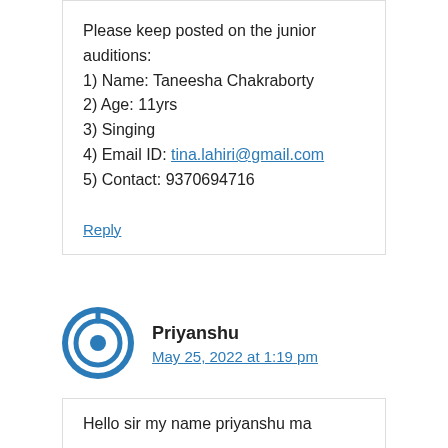Please keep posted on the junior auditions:
1) Name: Taneesha Chakraborty
2) Age: 11yrs
3) Singing
4) Email ID: tina.lahiri@gmail.com
5) Contact: 9370694716
Reply
Priyanshu
May 25, 2022 at 1:19 pm
Hello sir my name priyanshu ma...